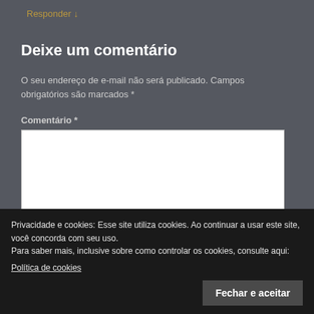Responder ↓
Deixe um comentário
O seu endereço de e-mail não será publicado. Campos obrigatórios são marcados *
Comentário *
Privacidade e cookies: Esse site utiliza cookies. Ao continuar a usar este site, você concorda com seu uso.
Para saber mais, inclusive sobre como controlar os cookies, consulte aqui:
Política de cookies
Fechar e aceitar